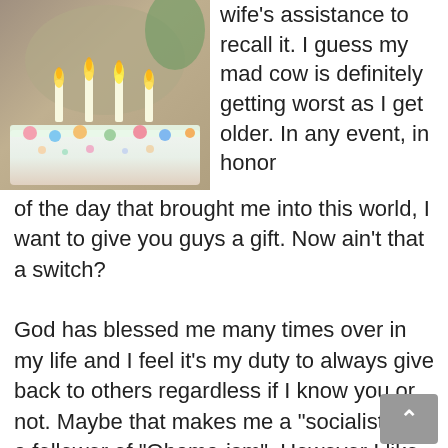[Figure (photo): Photo of a person leaning over a birthday cake with lit candles, colorful frosting decorations visible]
wife's assistance to recall it. I guess my mad cow is definitely getting worst as I get older. In any event, in honor of the day that brought me into this world, I want to give you guys a gift. Now ain't that a switch?

God has blessed me many times over in my life and I feel it's my duty to always give back to others regardless if I know you or not. Maybe that makes me a "socialist" or a follower of "Obama-ism". However I like to think of it as "good home training" and just